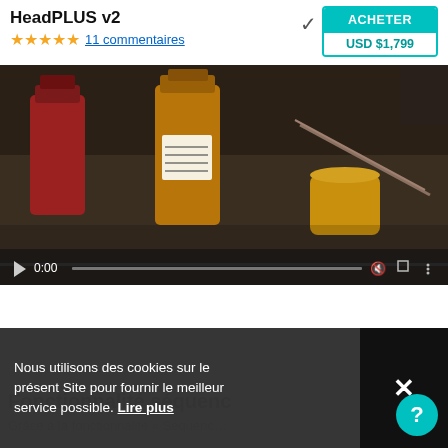HeadPLUS v2
★★★★★ 11 commentaires
ACHETER USD $1,799
[Figure (screenshot): Video player showing bottles of liquid (amber/yellow colored) on a dark surface with brushes. Video controls show 0:00 timestamp and paused state.]
Fonctionnalité Séquence
Nous utilisons des cookies sur le présent Site pour fournir le meilleur service possible. Lire plus
Grâce à la fonctionnalité « Séquence », vous pouvez